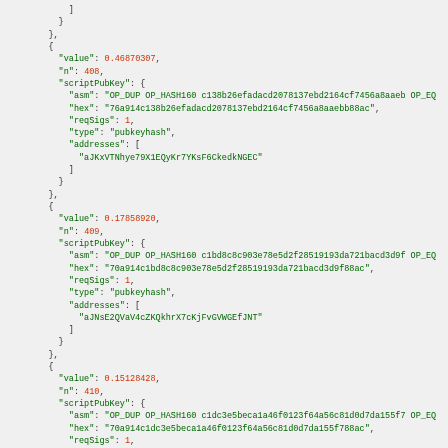JSON code block showing Bitcoin transaction output data with value, n, scriptPubKey fields including asm, hex, reqSigs, type, and addresses for outputs 408, 409, and 410.